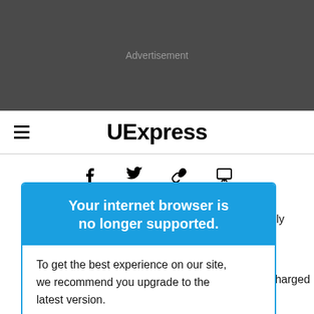Advertisement
UExpress
[Figure (other): Social share icons: Facebook, Twitter, link, print]
Your internet browser is no longer supported.
To get the best experience on our site, we recommend you upgrade to the latest version.
ow to properly lkaline be recharged